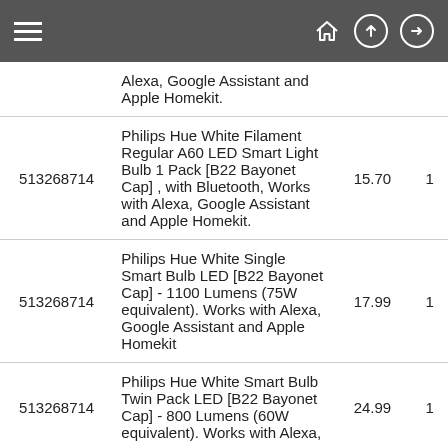Navigation bar with hamburger menu, home, upload, and sign-in icons
| ID | Description | Price | Qty |
| --- | --- | --- | --- |
|  | Alexa, Google Assistant and Apple Homekit. |  |  |
| 513268714 | Philips Hue White Filament Regular A60 LED Smart Light Bulb 1 Pack [B22 Bayonet Cap] , with Bluetooth, Works with Alexa, Google Assistant and Apple Homekit. | 15.70 | 1 |
| 513268714 | Philips Hue White Single Smart Bulb LED [B22 Bayonet Cap] - 1100 Lumens (75W equivalent). Works with Alexa, Google Assistant and Apple Homekit | 17.99 | 1 |
| 513268714 | Philips Hue White Smart Bulb Twin Pack LED [B22 Bayonet Cap] - 800 Lumens (60W equivalent). Works with Alexa, | 24.99 | 1 |